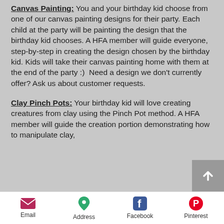Canvas Painting: You and your birthday kid choose from one of our canvas painting designs for their party. Each child at the party will be painting the design that the birthday kid chooses. A HFA member will guide everyone, step-by-step in creating the design chosen by the birthday kid. Kids will take their canvas painting home with them at the end of the party :)  Need a design we don't currently offer? Ask us about customer requests.
Clay Pinch Pots: Your birthday kid will love creating creatures from clay using the Pinch Pot method. A HFA member will guide the creation portion demonstrating how to manipulate clay,
Email  Address  Facebook  Pinterest